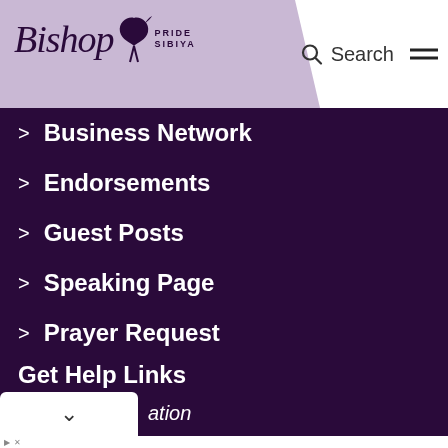Bishop Pride Sibiya — Search / Menu
Business Network
Endorsements
Guest Posts
Speaking Page
Prayer Request
Get Help Links
ation
[Figure (screenshot): Advertisement banner: Time For a Trim? Hair Cuttery, with yellow HC logo and blue diamond arrow icon]